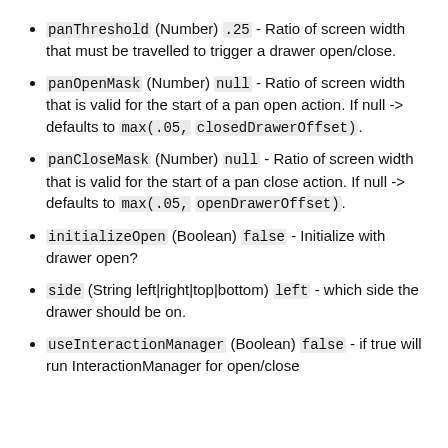panThreshold (Number) .25 - Ratio of screen width that must be travelled to trigger a drawer open/close.
panOpenMask (Number) null - Ratio of screen width that is valid for the start of a pan open action. If null -> defaults to max(.05, closedDrawerOffset).
panCloseMask (Number) null - Ratio of screen width that is valid for the start of a pan close action. If null -> defaults to max(.05, openDrawerOffset).
initializeOpen (Boolean) false - Initialize with drawer open?
side (String left|right|top|bottom) left - which side the drawer should be on.
useInteractionManager (Boolean) false - if true will run InteractionManager for open/close